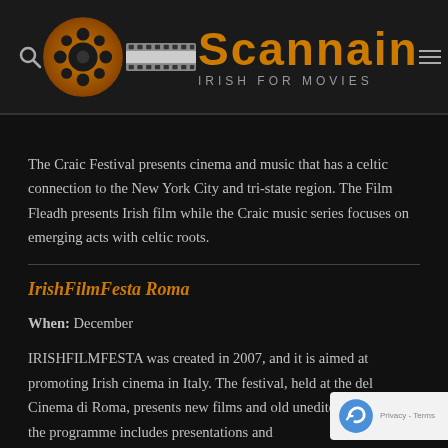[Figure (logo): Scannain - Irish for Movies logo with film reel graphic, orange text on dark background]
The Craic Festival presents cinema and music that has a celtic connection to the New York City and tri-state region. The Film Fleadh presents Irish film while the Craic music series focuses on emerging acts with celtic roots.
IrishFilmFesta Roma
When: December
IRISHFILMFESTA was created in 2007, and it is aimed at promoting Irish cinema in Italy. The festival, held at the del Cinema di Roma, presents new films and old unedite classics and the programme includes presentations and